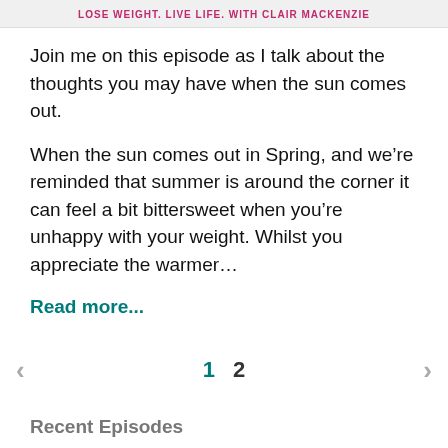LOSE WEIGHT. LIVE LIFE. WITH CLAIR MACKENZIE
Join me on this episode as I talk about the thoughts you may have when the sun comes out.
When the sun comes out in Spring, and we're reminded that summer is around the corner it can feel a bit bittersweet when you're unhappy with your weight. Whilst you appreciate the warmer…
Read more...
< 1 2 >
Recent Episodes